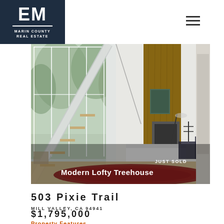EM MARIN COUNTY REAL ESTATE
[Figure (photo): Interior of a modern lofty treehouse home with large floor-to-ceiling windows, open staircase with glass railing, high vaulted ceilings, wood accent wall, fireplace, white sofa, and a red Persian rug on hardwood floors. Overlaid text reads 'JUST SOLD' and 'Modern Lofty Treehouse'.]
503 Pixie Trail
MILL VALLEY, CA 94941
$1,795,000
Property Features